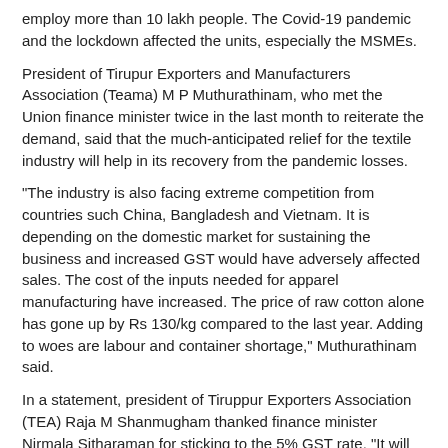employ more than 10 lakh people. The Covid-19 pandemic and the lockdown affected the units, especially the MSMEs.
President of Tirupur Exporters and Manufacturers Association (Teama) M P Muthurathinam, who met the Union finance minister twice in the last month to reiterate the demand, said that the much-anticipated relief for the textile industry will help in its recovery from the pandemic losses.
"The industry is also facing extreme competition from countries such China, Bangladesh and Vietnam. It is depending on the domestic market for sustaining the business and increased GST would have adversely affected sales. The cost of the inputs needed for apparel manufacturing have increased. The price of raw cotton alone has gone up by Rs 130/kg compared to the last year. Adding to woes are labour and container shortage," Muthurathinam said.
In a statement, president of Tiruppur Exporters Association (TEA) Raja M Shanmugham thanked finance minister Nirmala Sitharaman for sticking to the 5% GST rate. "It will help the garment industry, particularly the people purchasing value-added items," he said.
Published On : 01-01-2022
Source : Times of India